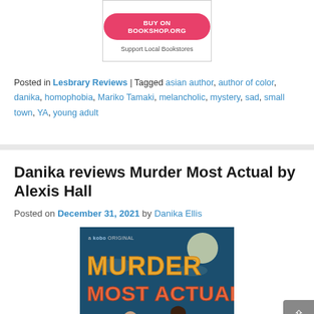[Figure (screenshot): Bookshop.org widget with pink 'BUY ON BOOKSHOP.ORG' button and 'Support Local Bookstores' text]
Posted in Lesbrary Reviews | Tagged asian author, author of color, danika, homophobia, Mariko Tamaki, melancholic, mystery, sad, small town, YA, young adult
Danika reviews Murder Most Actual by Alexis Hall
Posted on December 31, 2021 by Danika Ellis
[Figure (illustration): Book cover for 'Murder Most Actual' — a Kobo Original — showing colorful illustrated text in orange/yellow on dark teal background with illustrated characters]